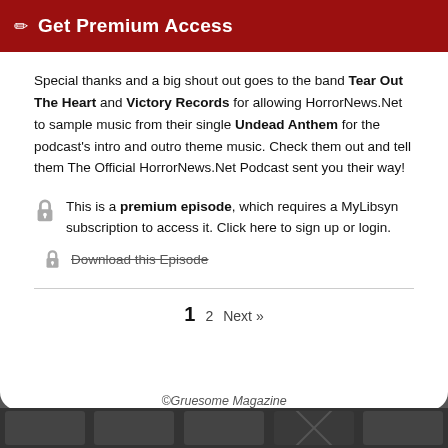Get Premium Access
Special thanks and a big shout out goes to the band Tear Out The Heart and Victory Records for allowing HorrorNews.Net to sample music from their single Undead Anthem for the podcast's intro and outro theme music. Check them out and tell them The Official HorrorNews.Net Podcast sent you their way!
This is a premium episode, which requires a MyLibsyn subscription to access it. Click here to sign up or login.
Download this Episode
©Gruesome Magazine